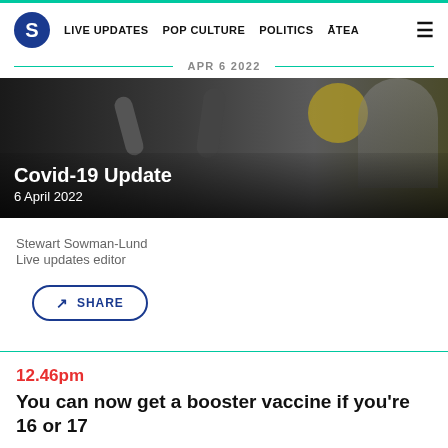S | LIVE UPDATES | POP CULTURE | POLITICS | ĀTEA
APR 6 2022
[Figure (photo): Hero image showing Covid-19 Update article with microphones and a person in background, dark overlay with white text reading 'Covid-19 Update' and '6 April 2022']
Stewart Sowman-Lund
Live updates editor
SHARE
12.46pm
You can now get a booster vaccine if you're 16 or 17